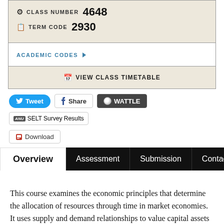CLASS NUMBER 4648
TERM CODE 2930
ACADEMIC CODES ▶
VIEW CLASS TIMETABLE
Tweet
Share
WATTLE
SELT Survey Results
Download
Overview
Assessment
Submission
Contacts
This course examines the economic principles that determine the allocation of resources through time in market economies. It uses supply and demand relationships to value capital assets (or projects more